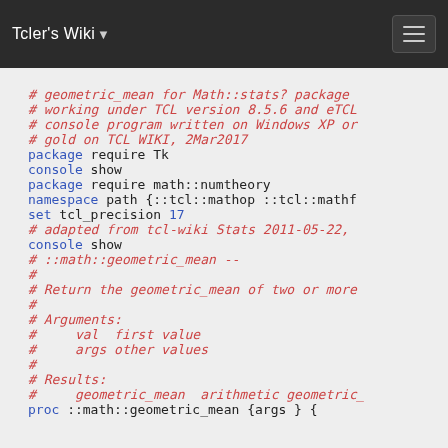Tcler's Wiki
# geometric_mean for Math::stats? package
# working under TCL version 8.5.6 and eTCL
# console program written on Windows XP or
# gold on TCL WIKI, 2Mar2017
package require Tk
console show
package require math::numtheory
namespace path {::tcl::mathop ::tcl::mathf
set tcl_precision 17
# adapted from tcl-wiki Stats 2011-05-22,
console show
# ::math::geometric_mean --
#
# Return the geometric_mean of two or more
#
# Arguments:
#     val  first value
#     args other values
#
# Results:
#     geometric_mean  arithmetic geometric_
proc ::math::geometric_mean {args } {